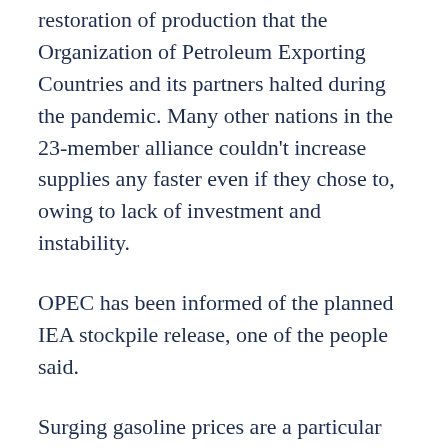restoration of production that the Organization of Petroleum Exporting Countries and its partners halted during the pandemic. Many other nations in the 23-member alliance couldn't increase supplies any faster even if they chose to, owing to lack of investment and instability.
OPEC has been informed of the planned IEA stockpile release, one of the people said.
Surging gasoline prices are a particular risk for Biden, who faces midterm elections with slipping approval ratings. He already failed to tame fuel costs with release of crude from emergency stocks announced last year. Traders said that